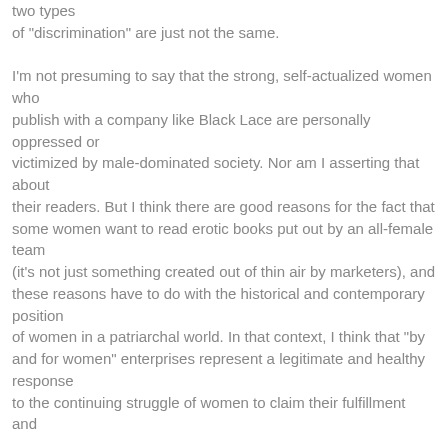two types of "discrimination" are just not the same.

I'm not presuming to say that the strong, self-actualized women who publish with a company like Black Lace are personally oppressed or victimized by male-dominated society. Nor am I asserting that about their readers. But I think there are good reasons for the fact that some women want to read erotic books put out by an all-female team (it's not just something created out of thin air by marketers), and these reasons have to do with the historical and contemporary position of women in a patriarchal world. In that context, I think that "by and for women" enterprises represent a legitimate and healthy response to the continuing struggle of women to claim their fulfillment and